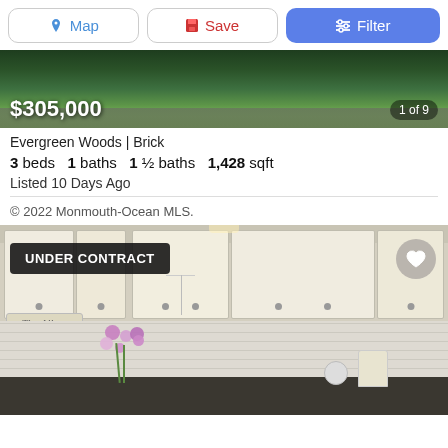[Figure (screenshot): Navigation bar with Map, Save, and Filter buttons]
[Figure (photo): Exterior photo of property with green foliage showing price $305,000 and photo counter 1 of 9]
Evergreen Woods | Brick
3 beds  1 baths  1 ½ baths  1,428 sqft
Listed 10 Days Ago
© 2022 Monmouth-Ocean MLS.
[Figure (photo): Interior kitchen photo with white cabinets, flowers on counter, UNDER CONTRACT badge overlay, and heart/favorite button]